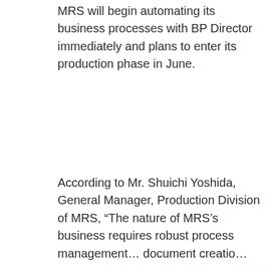MRS will begin automating its business processes with BP Director immediately and plans to enter its production phase in June.
According to Mr. Shuichi Yoshida, General Manager, Production Division of MRS, “The nature of MRS’s business requires robust process management… document creatio…
We use cookies to e… experience and ana… “Accept All” to conse… which cookies to ena… your info won’t be tracked.
Hi there, are you interested in learning about Process Automation or Business Process Management?
Your browser settings do not allow cross-site tracking for advertising. Click on this … AdRoll to use cross-site tracking to tailor ads to you. Learn more or opt out of this A… by clicking here. This message only appears once.